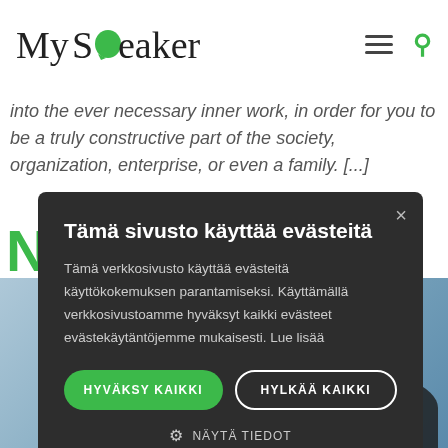MySpeaker
into the ever necessary inner work, in order for you to be a truly constructive part of the society, organization, enterprise, or even a family. [...}
[Figure (screenshot): Cookie consent dialog overlay on MySpeaker website with dark background, showing title 'Tämä sivusto käyttää evästeitä', body text in Finnish about cookie usage, two buttons: HYVÄKSY KAIKKI (green) and HYLKÄÄ KAIKKI (outlined white), and a NÄYTÄ TIEDOT settings link below.]